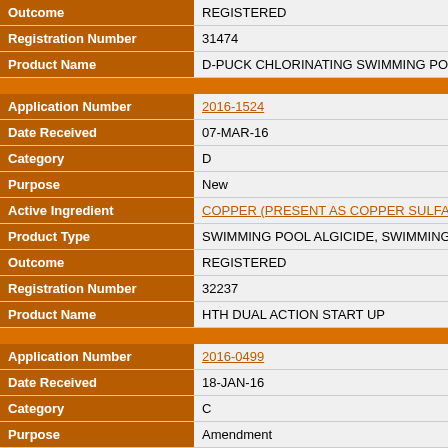| Field | Value |
| --- | --- |
| Outcome | REGISTERED |
| Registration Number | 31474 |
| Product Name | D-PUCK CHLORINATING SWIMMING POOL T |
| Application Number | 2016-1524 |
| Date Received | 07-MAR-16 |
| Category | D |
| Purpose | New |
| Active Ingredient | COPPER (PRESENT AS COPPER SULFATE P... AS SODIUM DICHLORO-S-TRIAZINETRIONE |
| Product Type | SWIMMING POOL ALGICIDE, SWIMMING PO |
| Outcome | REGISTERED |
| Registration Number | 32237 |
| Product Name | HTH DUAL ACTION START UP |
| Application Number | 2016-0499 |
| Date Received | 18-JAN-16 |
| Category | C |
| Purpose | Amendment |
| Active Ingredient | AVAILABLE CHLORINE, PRESENT AS SODIU |
| Product Type | SWIMMING POOL ALGICIDE, SWIMMING PO |
| Outcome | REGISTERED |
| Registration Number | 31516 |
| Product Name | INDUSTRIAL DCCNA 62 |